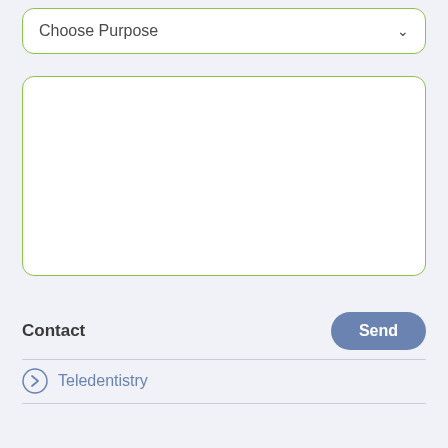Choose Purpose
Contact
Send
Teledentistry